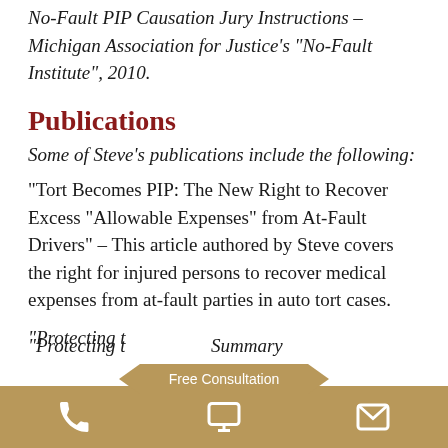No-Fault PIP Causation Jury Instructions – Michigan Association for Justice's “No-Fault Institute”, 2010.
Publications
Some of Steve’s publications include the following:
“Tort Becomes PIP: The New Right to Recover Excess “Allowable Expenses” from At-Fault Drivers” – This article authored by Steve covers the right for injured persons to recover medical expenses from at-fault parties in auto tort cases.
“Protecting t… Summary
Free Consultation